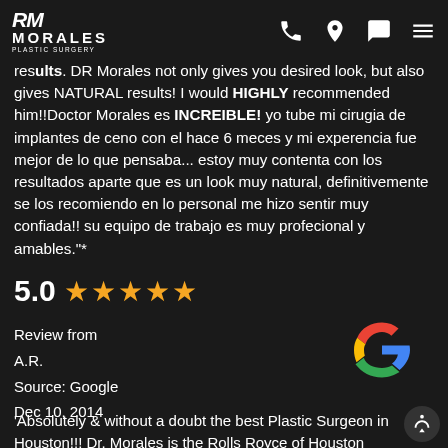Morales Plastic Surgery
results. DR Morales not only gives you desired look, but also gives NATURAL results! I would HIGHLY recommended him!!Doctor Morales es INCREIBLE! yo tube mi cirugia de implantes de ceno con el hace 6 meces y mi experencia fue mejor de lo que pensaba... estoy muy contenta con los resultados aparte que es un look muy natural, definitivemente se los recomiendo en lo personal me hizo sentir muy confiada!! su equipo de trabajo es muy profecional y amables."*
5.0 ★★★★★
Review from
A.R.
Source: Google
Dec 10, 2014
[Figure (logo): Google G logo in multicolor (red, blue, yellow, green)]
'Absolutely & without a doubt the best Plastic Surgeon in Houston!!! Dr. Morales is the Rolls Royce of Houston Plastic Surgeons with the most genuine and kind heart